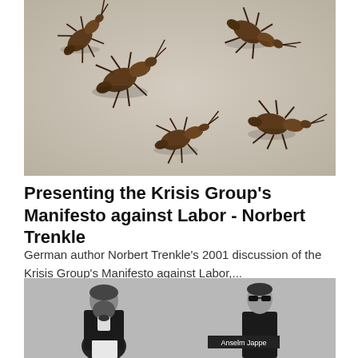[Figure (illustration): 3D rendered image of multiple large brown/bronze ants crawling on a white surface, viewed from above at a slight angle]
Presenting the Krisis Group's Manifesto against Labor - Norbert Trenkle
German author Norbert Trenkle's 2001 discussion of the Krisis Group's Manifesto against Labor,...
[Figure (photo): Black and white image of two figures: on the left a bearded man in 19th century attire (resembling Karl Marx), and on the right a modern person in dark clothing with a label reading 'Anselm Jappe']